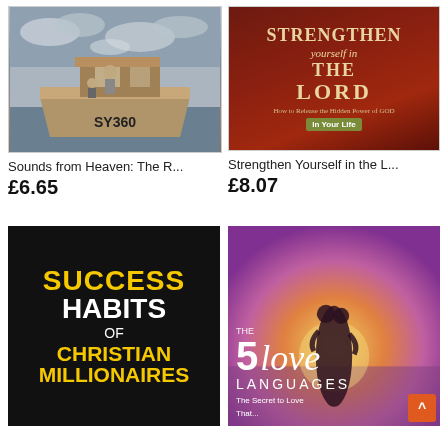[Figure (photo): Book cover: Sounds from Heaven: The R... showing a boat labeled SY360 with two people, cloudy sky, black and white photo style]
Sounds from Heaven: The R...
£6.65
[Figure (photo): Book cover: Strengthen Yourself in the Lord - How to Release the Hidden Power of GOD In Your Life, dark red background with gold/cream text]
Strengthen Yourself in the L...
£8.07
[Figure (photo): Book cover: Success Habits of Christian Millionaires, black background with yellow and white bold text]
[Figure (photo): Book cover: The 5 Love Languages - The Secret to Love That..., purple/sunset gradient with silhouette of couple]